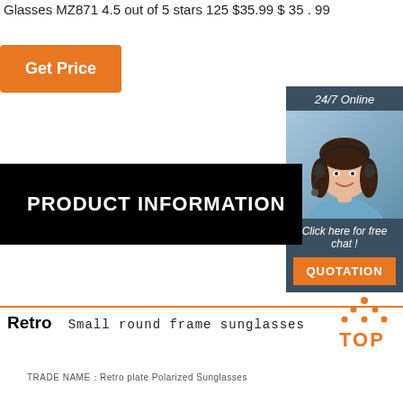Glasses MZ871 4.5 out of 5 stars 125 $35.99 $ 35 . 99
Get Price
24/7 Online
[Figure (photo): Customer service representative wearing a headset, smiling, with '24/7 Online' header and 'Click here for free chat!' text and a QUOTATION button]
Click here for free chat !
QUOTATION
PRODUCT INFORMATION
Retro   Small round frame  sunglasses
[Figure (logo): Orange TOP logo with dots arranged in a triangle above the word TOP]
TRADE NAME：Retro plate Polarized Sunglasses